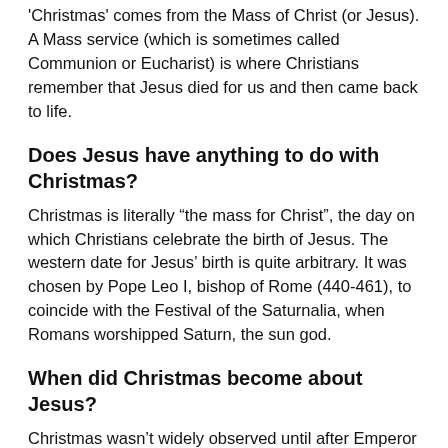'Christmas' comes from the Mass of Christ (or Jesus). A Mass service (which is sometimes called Communion or Eucharist) is where Christians remember that Jesus died for us and then came back to life.
Does Jesus have anything to do with Christmas?
Christmas is literally “the mass for Christ”, the day on which Christians celebrate the birth of Jesus. The western date for Jesus’ birth is quite arbitrary. It was chosen by Pope Leo I, bishop of Rome (440-461), to coincide with the Festival of the Saturnalia, when Romans worshipped Saturn, the sun god.
When did Christmas become about Jesus?
Christmas wasn’t widely observed until after Emperor Constantine converted to Christianity and declared it the Roman empire’s favored religion. Western Christians officially began celebrating December 25 as the birth of Jesus in 336 AD.